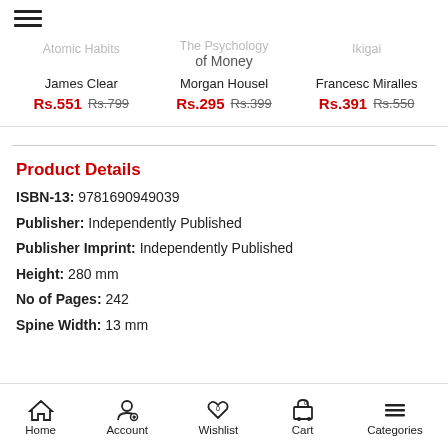≡ (hamburger menu)
Atomic Habits | The Psychology of Money | Ikigai
James Clear — Rs.551  Rs.799
Morgan Housel — Rs.295  Rs.399
Francesc Miralles — Rs.391  Rs.550
Product Details
ISBN-13: 9781690949039
Publisher: Independently Published
Publisher Imprint: Independently Published
Height: 280 mm
No of Pages: 242
Spine Width: 13 mm
Home  Account  Wishlist  Cart  Categories